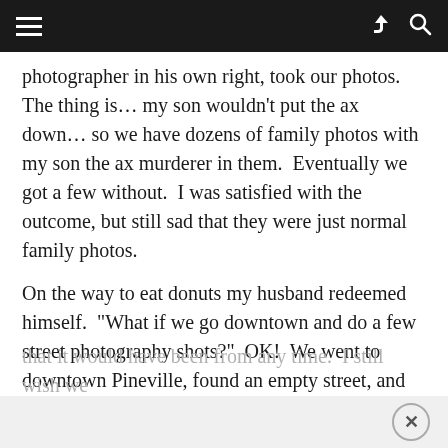photographer in his own right, took our photos.  The thing is… my son wouldn't put the ax down… so we have dozens of family photos with my son the ax murderer in them.  Eventually we got a few without.  I was satisfied with the outcome, but still sad that they were just normal family photos.
On the way to eat donuts my husband redeemed himself.  "What if we go downtown and do a few street photography shots?"  OK!  We went to downtown Pineville, found an empty street, and took about 10 photos of the family walking together up the sidewalk.  There were no modern cars parked so it has the illusion
that it would have been from any time.  I still wish we